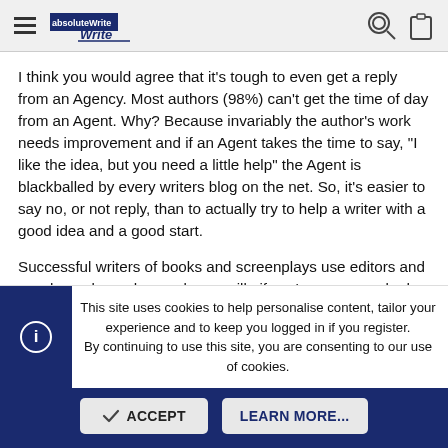absoluteWrite [logo] | key icon | clipboard icon
I think you would agree that it's tough to even get a reply from an Agency. Most authors (98%) can't get the time of day from an Agent. Why? Because invariably the author's work needs improvement and if an Agent takes the time to say, "I like the idea, but you need a little help" the Agent is blackballed by every writers blog on the net. So, it's easier to say no, or not reply, than to actually try to help a writer with a good idea and a good start.
Successful writers of books and screenplays use editors and coaches, always have, always will.. if you've never worked with an editor, you should. I would say that 95+% of the books on the shelves today have had an editors touch, either through the publishing company or as directed by an agent. There are two levels of editing. The first is our
This site uses cookies to help personalise content, tailor your experience and to keep you logged in if you register.
By continuing to use this site, you are consenting to our use of cookies.
ACCEPT
LEARN MORE...